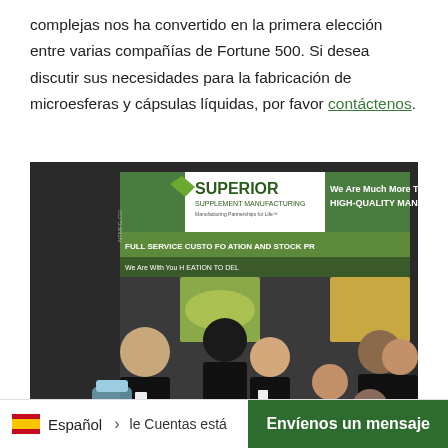complejas nos ha convertido en la primera elección entre varias compañías de Fortune 500. Si desea discutir sus necesidades para la fabricación de microesferas y cápsulas líquidas, por favor contáctenos.
[Figure (photo): Group photo of Superior Supplement Manufacturing team at a trade show booth. Banner reads 'SUPERIOR SUPPLEMENT MANUFACTURING - Manufacturing Partnerships for Life' and 'We Are Much More Than HIGH-QUALITY MANUFAC...' and 'FULL SERVICE CUSTO... FORMATION AND STOCK PR...' and 'We Are With You H... CREATION TO DEL...']
Español > le Cuentas está
Envíenos un mensaje